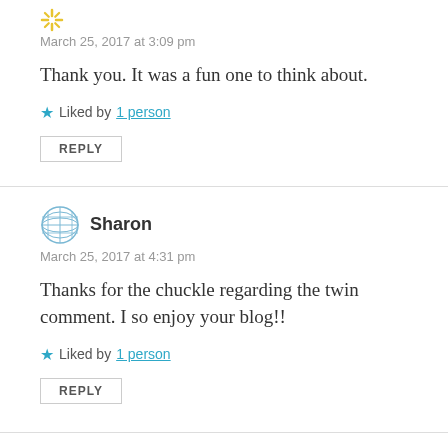March 25, 2017 at 3:09 pm
Thank you. It was a fun one to think about.
Liked by 1 person
REPLY
Sharon
March 25, 2017 at 4:31 pm
Thanks for the chuckle regarding the twin comment. I so enjoy your blog!!
Liked by 1 person
REPLY